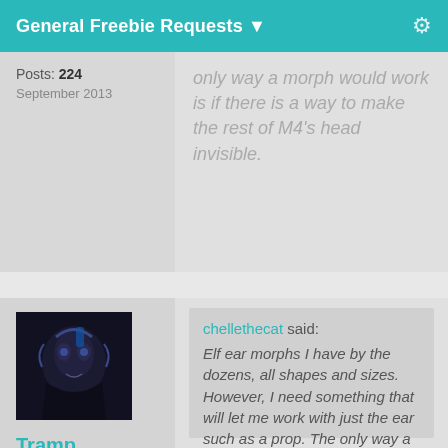General Freebie Requests ▼
only way a morph would work is if there is a way to make the rest of M4's head invisible.
Posts: 224
September 2013
[Figure (photo): Dark fantasy character avatar for Tramp Graphics user]
Tramp Graphics
Posts: 2,395
September 2013
chellethecat said: Elf ear morphs I have by the dozens, all shapes and sizes. However, I need something that will let me work with just the ear such as a prop. The only way a morph would work is if there is a way to make the rest of M4's head invisible.